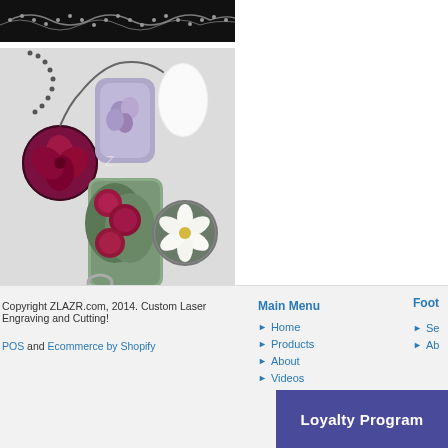[Figure (photo): Top portion of a jewelry/necklace photo showing chain on dark background]
[Figure (photo): Jewelry items including round pendants with flower designs, a dog-tag style pendant with purple flowers, a rectangle pendant with pink roses/peonies, a round pendant with white flower, and a clear oval pendant, all on chains on a light gray background]
Copyright ZLAZR.com, 2014. Custom Laser Engraving and Cutting!
POS and Ecommerce by Shopify
Main Menu
Home
Products
About
Videos
Foot
Se
Ab
Loyalty Program